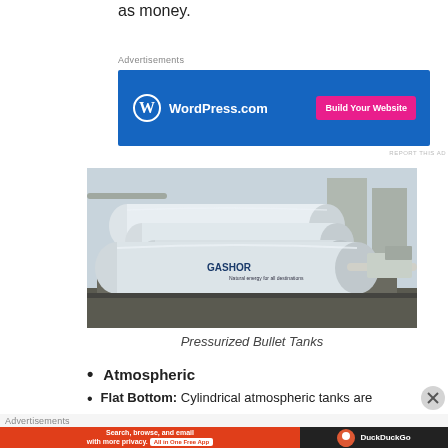as money.
[Figure (infographic): WordPress.com advertisement banner with blue background, WordPress logo, and pink 'Build Your Website' button]
[Figure (photo): Aerial photo of white pressurized bullet tanks (GASHOR branded) arranged in a row at an industrial facility]
Pressurized Bullet Tanks
Atmospheric
Flat Bottom: Cylindrical atmospheric tanks are
[Figure (infographic): DuckDuckGo advertisement: 'Search, browse, and email with more privacy. All in One Free App' with orange background and DuckDuckGo logo]